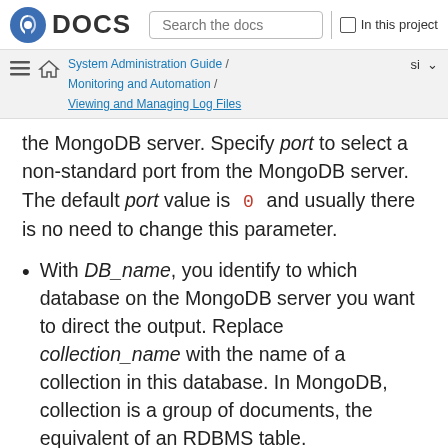DOCS  Search the docs  In this project
System Administration Guide / Monitoring and Automation / Viewing and Managing Log Files  si
the MongoDB server. Specify port to select a non-standard port from the MongoDB server. The default port value is 0 and usually there is no need to change this parameter.
With DB_name, you identify to which database on the MongoDB server you want to direct the output. Replace collection_name with the name of a collection in this database. In MongoDB, collection is a group of documents, the equivalent of an RDBMS table.
You can set your login details by replacing UID